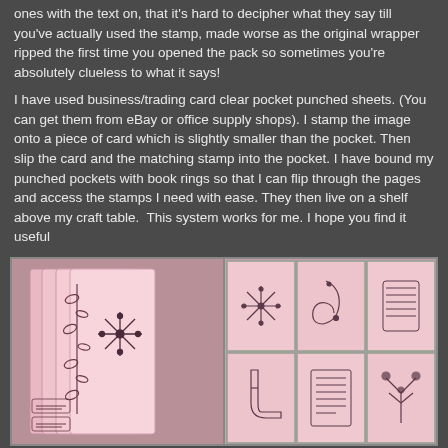ones with the text on, that it's hard to decipher what they say till you've actually used the stamp, made worse as the original wrapper ripped the first time you opened the pack so sometimes you're absolutely clueless to what it says!
I have used business/trading card clear pocket punched sheets. (You can get them from eBay or office supply shops). I stamp the image onto a piece of card which is slightly smaller than the pocket. Then slip the card and the matching stamp into the pocket. I have bound my punched pockets with book rings so that I can flip through the pages and access the stamps I need with ease. They then live on a shelf above my craft table.  This system works for me. I hope you find it useful
[Figure (photo): Two photos side by side: left photo shows pink pouches/envelopes with stamped snowflake and floral designs; right photo shows a grid of clear pockets containing stamps on pink card backgrounds, including snowflake, swirls, boots, and other decorative stamps.]